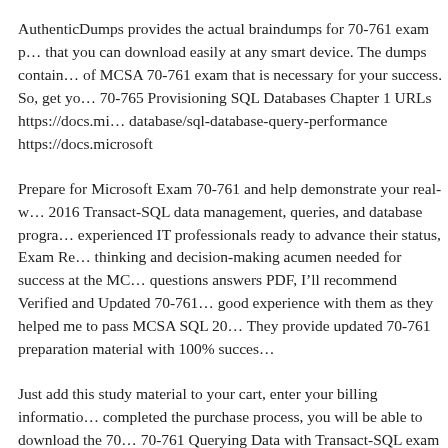AuthenticDumps provides the actual braindumps for 70-761 exam p... that you can download easily at any smart device. The dumps contain... of MCSA 70-761 exam that is necessary for your success. So, get yo... 70-765 Provisioning SQL Databases Chapter 1 URLs https://docs.mi... database/sql-database-query-performance https://docs.microsoft
Prepare for Microsoft Exam 70-761 and help demonstrate your real-w... 2016 Transact-SQL data management, queries, and database progra... experienced IT professionals ready to advance their status, Exam Re... thinking and decision-making acumen needed for success at the MC... questions answers PDF, I'll recommend Verified and Updated 70-761... good experience with them as they helped me to pass MCSA SQL 20... They provide updated 70-761 preparation material with 100% succes...
Just add this study material to your cart, enter your billing informatio... completed the purchase process, you will be able to download the 70... 70-761 Querying Data with Transact-SQL exam in a PDF file format... receive any 70-761 updates that this 70-761 study material Prepare fo... 761вЂ"and help demonstrate your real-world mastery of SQL Server...